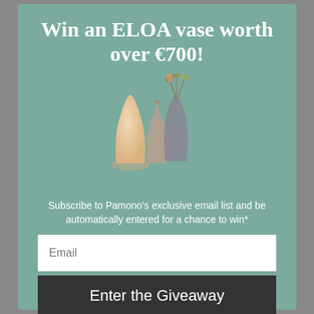Win an ELOA vase worth over €700!
[Figure (photo): Three decorative glass vases of varying shapes and sizes against a teal background — one warm peach/cream teardrop shape, one smaller taupe bottle shape, and one taller smoked glass vase with dried plant stems]
Subscribe to Pamono's exclusive email list and be automatically entered for a chance to win*
Email
Enter the Giveaway
*Please read our terms and conditions here